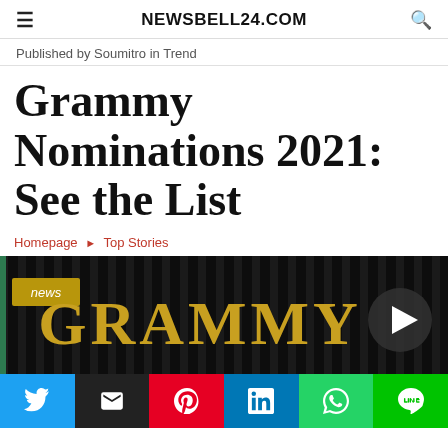NEWSBELL24.COM
Published by Soumitro in Trend
Grammy Nominations 2021: See the List
Homepage ▸ Top Stories
[Figure (photo): Dark background with golden GRAMMY text logo, 'news' badge in top-left, play button triangle on the right side]
Social share buttons: Twitter, Email, Pinterest, LinkedIn, WhatsApp, LINE